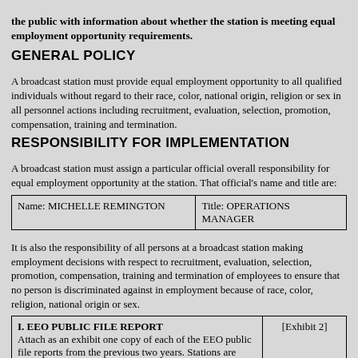the public with information about whether the station is meeting equal employment opportunity requirements.
GENERAL POLICY
A broadcast station must provide equal employment opportunity to all qualified individuals without regard to their race, color, national origin, religion or sex in all personnel actions including recruitment, evaluation, selection, promotion, compensation, training and termination.
RESPONSIBILITY FOR IMPLEMENTATION
A broadcast station must assign a particular official overall responsibility for equal employment opportunity at the station. That official's name and title are:
| Name | Title |
| --- | --- |
| Name: MICHELLE REMINGTON | Title: OPERATIONS MANAGER |
It is also the responsibility of all persons at a broadcast station making employment decisions with respect to recruitment, evaluation, selection, promotion, compensation, training and termination of employees to ensure that no person is discriminated against in employment because of race, color, religion, national origin or sex.
| Section | Exhibit |
| --- | --- |
| I. EEO PUBLIC FILE REPORT
Attach as an exhibit one copy of each of the EEO public file reports from the previous two years. Stations are required to place annually such information as is required by 47 C.F.R. Section 73.2080 in their public files. | [Exhibit 2] |